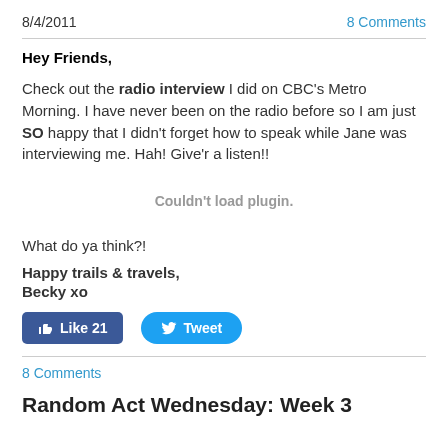8/4/2011    8 Comments
Hey Friends,
Check out the radio interview I did on CBC's Metro Morning. I have never been on the radio before so I am just SO happy that I didn't forget how to speak while Jane was interviewing me. Hah! Give'r a listen!!
Couldn't load plugin.
What do ya think?!
Happy trails & travels,
Becky xo
[Figure (other): Like 21 button and Tweet button]
8 Comments
Random Act Wednesday: Week 3